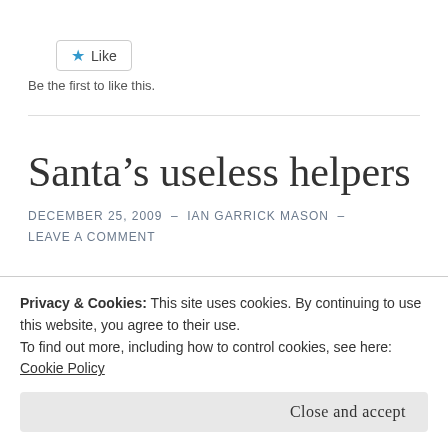[Figure (other): Like button with star icon and border]
Be the first to like this.
Santa’s useless helpers
DECEMBER 25, 2009  -  IAN GARRICK MASON  -  LEAVE A COMMENT
Privacy & Cookies: This site uses cookies. By continuing to use this website, you agree to their use.
To find out more, including how to control cookies, see here: Cookie Policy
Close and accept